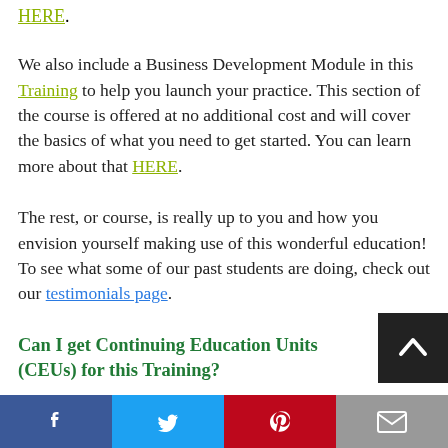HERE.
We also include a Business Development Module in this Training to help you launch your practice. This section of the course is offered at no additional cost and will cover the basics of what you need to get started. You can learn more about that HERE.
The rest, or course, is really up to you and how you envision yourself making use of this wonderful education! To see what some of our past students are doing, check out our testimonials page.
Can I get Continuing Education Units (CEUs) for this Training?
Facebook | Twitter | Pinterest | Email